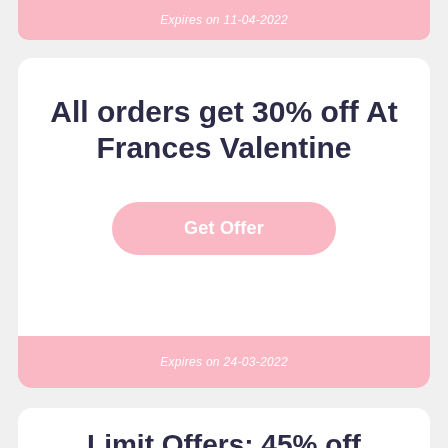Expires on 11-04-2022
All orders get 30% off At Frances Valentine
Get Offer
Expires on 24-03-2022
Limit Offers: 45% off